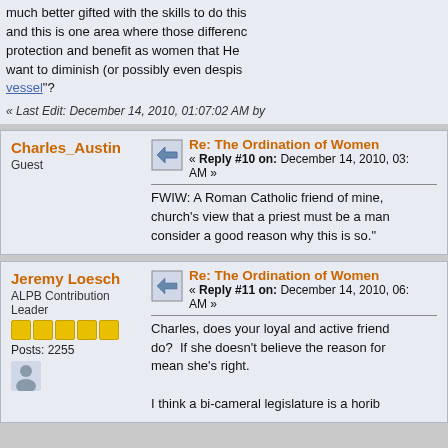much better gifted with the skills to do this and this is one area where those differences protection and benefit as women that He want to diminish (or possibly even despise vessel"?
« Last Edit: December 14, 2010, 01:07:02 AM by
Charles_Austin
Guest
Re: The Ordination of Women
« Reply #10 on: December 14, 2010, 03: AM »
FWIW: A Roman Catholic friend of mine, church's view that a priest must be a man consider a good reason why this is so."
Jeremy Loesch
ALPB Contribution Leader
Posts: 2255
Re: The Ordination of Women
« Reply #11 on: December 14, 2010, 06: AM »
Charles, does your loyal and active friend do?  If she doesn't believe the reason for mean she's right.
I think a bi-cameral legislature is a horib